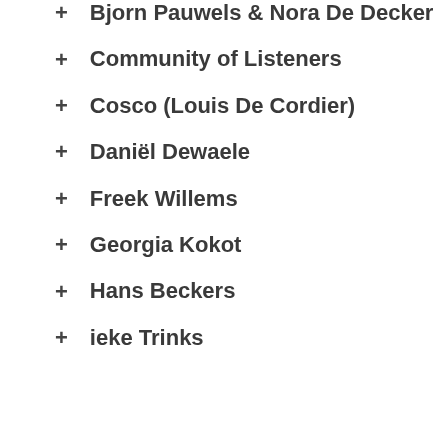Bjorn Pauwels & Nora De Decker
Community of Listeners
Cosco (Louis De Cordier)
Daniël Dewaele
Freek Willems
Georgia Kokot
Hans Beckers
ieke Trinks